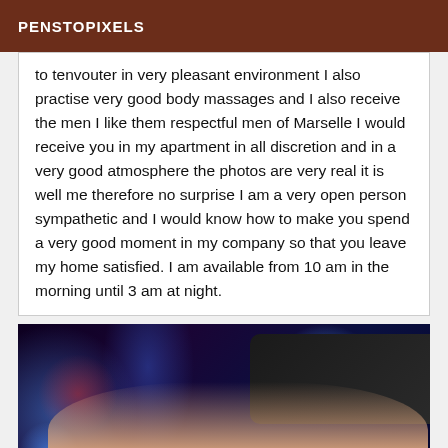PENSTOPIXELS
to tenvouter in very pleasant environment I also practise very good body massages and I also receive the men I like them respectful men of Marselle I would receive you in my apartment in all discretion and in a very good atmosphere the photos are very real it is well me therefore no surprise I am a very open person sympathetic and I would know how to make you spend a very good moment in my company so that you leave my home satisfied. I am available from 10 am in the morning until 3 am at night.
[Figure (photo): Photo of a person in dark clothing surrounded by colorful blue and red LED lights]